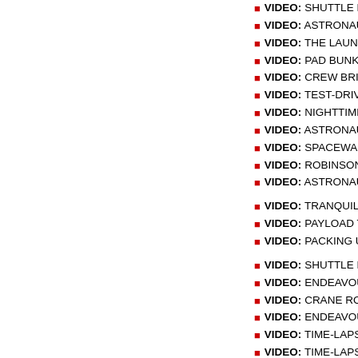VIDEO: SHUTTLE EVACUATION PRACTICE PLAY | HI-DEF
VIDEO: ASTRONAUTS BOARD ENDEAVOUR PLAY | HI-DEF
VIDEO: THE LAUNCH DAY SIMULATION BEGINS PLAY |
VIDEO: PAD BUNKER TRAINING FOR THE CREW PLAY
VIDEO: CREW BRIEFED ON EMERGENCY PROCEDURE
VIDEO: TEST-DRIVING AN EMERGENCY ARMORED TAN
VIDEO: NIGHTTIME APPROACHES IN TRAINING AIRCR
VIDEO: ASTRONAUTS CHAT WITH REPORTERS AT PAD
VIDEO: SPACEWALKER UPDATES COOLING HOSE FIX
VIDEO: ROBINSON'S THOUGHTS ON SHUTTLE RETIRE
VIDEO: ASTRONAUTS ARRIVE FOR PRACTICE COUNT
VIDEO: TRANQUILITY DELIVERED TO PAD 39A PLAY | H
VIDEO: PAYLOAD TRANSPORTER GOES UPRIGHT PLA
VIDEO: PACKING UP PAYLOAD FOR LAUNCH PLAY | HI-
VIDEO: SHUTTLE ENDEAVOUR'S FRIGID ROLLOUT TO
VIDEO: ENDEAVOUR HOISTED FOR ATTACHMENT TO
VIDEO: CRANE ROTATES THE ORBITER VERTICALLY P
VIDEO: ENDEAVOUR MOVES TO ASSEMBLY BUILDING
VIDEO: TIME-LAPSE SHOWS ENDEAVOUR ASCENDING
VIDEO: TIME-LAPSE SHOWS THE MOVE TO ASSEMBLY
VIDEO: ORBITER READY TO LEAVE HANGAR PLAY | HI
VIDEO: EXTERNAL TANK ATTACHED TO BOOSTERS PL
VIDEO: ENDEAVOUR'S MAIN ENGINE INSTALLATION PL
VIDEO: ASTRONAUTS VISIT THEIR SPACECRAFT PLAY
VIDEO: CREW INSPECTS MISSION PAYLOADS PLAY | H
VIDEO: FUEL TANK UNLOADED FROM THE BARGE PLA
VIDEO: EXTERNAL TANK ARRIVES AT SPACEPORT PLA
VIDEO: FORWARD THRUSTER POD CHECKED OUT PL
VIDEO: ENDEAVOUR TOWED OFF RUNWAY FROM STS
VIDEO: TRANQUILITY HATCH SEALED FOR LAUNCH P
VIDEO: CUPOLA ATTACHED TO TRANQUILITY PLAY | H
VIDEO: THE SPACE STATION'S NEW CUPOLA PLAY | HI
VIDEO: TRANQUILITY UNPACKED IN FLORIDA PLAY | HI
VIDEO: NEW MODULE ARRIVES FROM EUROPE PLAY |
SUBSCRIBE NOW
MISSION INDEX